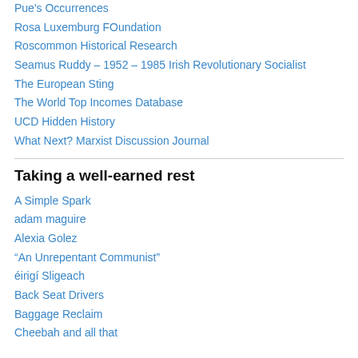Pue's Occurrences
Rosa Luxemburg FOundation
Roscommon Historical Research
Seamus Ruddy – 1952 – 1985 Irish Revolutionary Socialist
The European Sting
The World Top Incomes Database
UCD Hidden History
What Next? Marxist Discussion Journal
Taking a well-earned rest
A Simple Spark
adam maguire
Alexia Golez
“An Unrepentant Communist”
éirigí Sligeach
Back Seat Drivers
Baggage Reclaim
Cheebah and all that